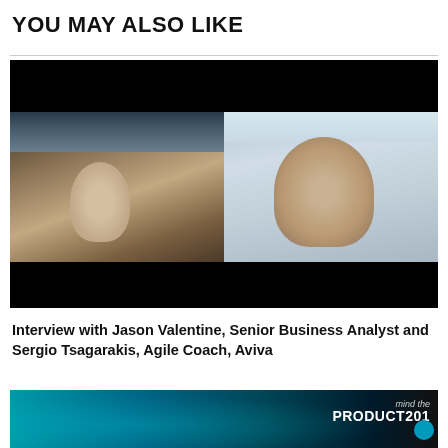YOU MAY ALSO LIKE
[Figure (screenshot): Video screenshot showing two people in a split-screen video call. Left side shows a person with headphones in an attic studio with exposed brick and angled ceiling/skylights. Right side shows a man with a headset in a bright room with windows.]
Interview with Jason Valentine, Senior Business Analyst and Sergio Tsagarakis, Agile Coach, Aviva
[Figure (screenshot): Partial thumbnail of a second video or article with a teal/blue tinted background and the 'mind the PRODUCT201' logo visible on the right side.]